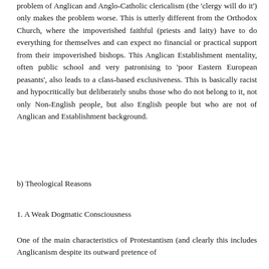problem of Anglican and Anglo-Catholic clericalism (the 'clergy will do it') only makes the problem worse. This is utterly different from the Orthodox Church, where the impoverished faithful (priests and laity) have to do everything for themselves and can expect no financial or practical support from their impoverished bishops. This Anglican Establishment mentality, often public school and very patronising to 'poor Eastern European peasants', also leads to a class-based exclusiveness. This is basically racist and hypocritically but deliberately snubs those who do not belong to it, not only Non-English people, but also English people but who are not of Anglican and Establishment background.
b) Theological Reasons
1. A Weak Dogmatic Consciousness
One of the main characteristics of Protestantism (and clearly this includes Anglicanism despite its outward pretence of